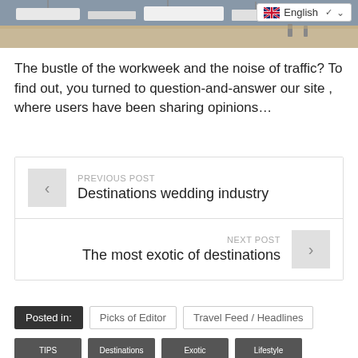[Figure (photo): Aerial or overhead view of a harbor with boats/yachts docked, and a language selector overlay in the top right showing English with UK flag]
The bustle of the workweek and the noise of traffic? To find out, you turned to question-and-answer our site , where users have been sharing opinions…
PREVIOUS POST
Destinations wedding industry
NEXT POST
The most exotic of destinations
Posted in:
Picks of Editor
Travel Feed / Headlines